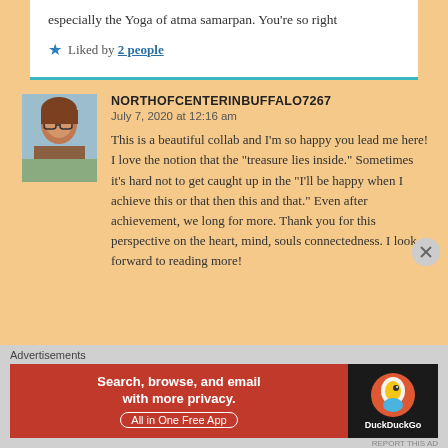especially the Yoga of atma samarpan. You're so right
Liked by 2 people
NORTHOFCENTERINBUFFALO7267
July 7, 2020 at 12:16 am
This is a beautiful collab and I'm so happy you lead me here! I love the notion that the "treasure lies inside." Sometimes it's hard not to get caught up in the "I'll be happy when I achieve this or that then this and that." Even after achievement, we long for more. Thank you for this perspective on the heart, mind, souls connectedness. I look forward to reading more!
Advertisements
[Figure (screenshot): DuckDuckGo advertisement banner: Search, browse, and email with more privacy. All in One Free App]